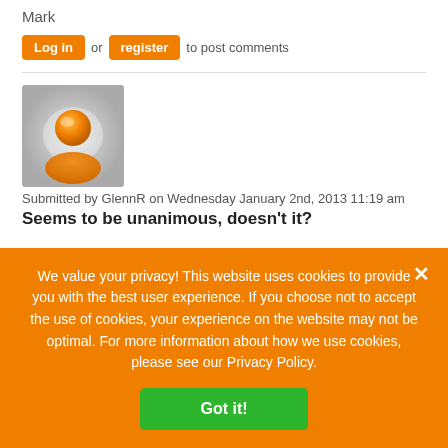Mark
Log in or register to post comments
[Figure (illustration): User avatar icon — orange person silhouette on light grey/white radial gradient background]
Submitted by GlennR on Wednesday January 2nd, 2013 11:19 am
Seems to be unanimous, doesn't it?
We value your privacy! This website uses cookies to provide you with the best user experience. If you choose not to accept the use of cookies, your experience on the website may not be optimal. For more information about how we use cookies, please see our Privacy Policy.
Got it!